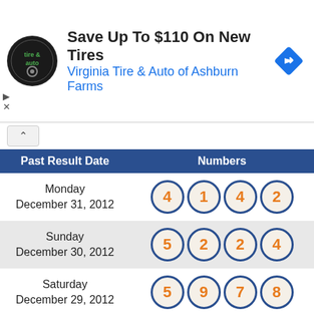[Figure (other): Advertisement banner for Virginia Tire & Auto of Ashburn Farms with logo, headline 'Save Up To $110 On New Tires', and a blue diamond navigation arrow icon.]
| Past Result Date | Numbers |
| --- | --- |
| Monday
December 31, 2012 | 4 1 4 2 |
| Sunday
December 30, 2012 | 5 2 2 4 |
| Saturday
December 29, 2012 | 5 9 7 8 |
| Friday
December 28, 2012 | 4 6 6 0 |
| Thursday
December 27, 2012 | 3 0 5 7 |